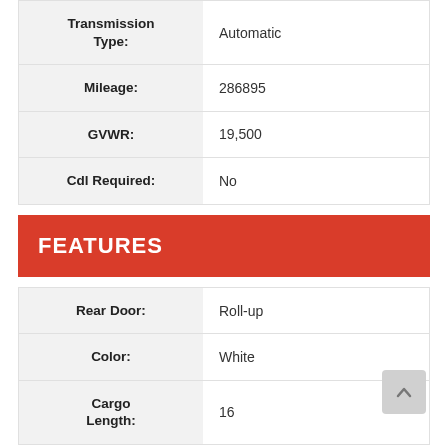| Field | Value |
| --- | --- |
| Transmission Type: | Automatic |
| Mileage: | 286895 |
| GVWR: | 19,500 |
| Cdl Required: | No |
FEATURES
| Field | Value |
| --- | --- |
| Rear Door: | Roll-up |
| Color: | White |
| Cargo Length: | 16 |